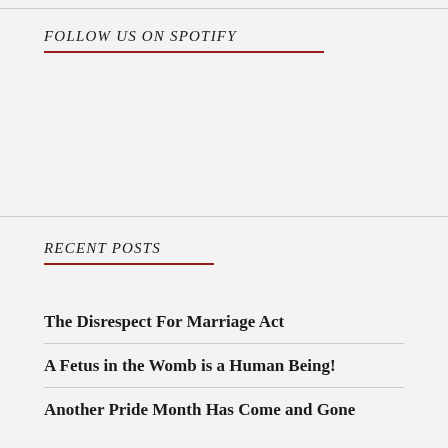FOLLOW US ON SPOTIFY
RECENT POSTS
The Disrespect For Marriage Act
A Fetus in the Womb is a Human Being!
Another Pride Month Has Come and Gone